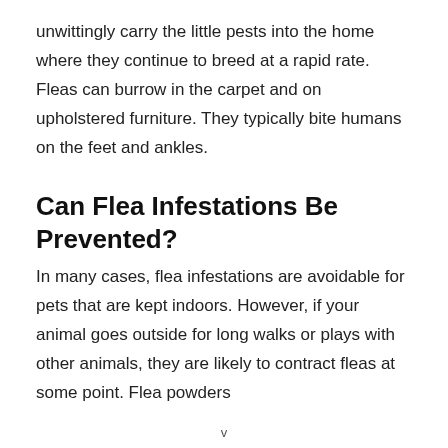unwittingly carry the little pests into the home where they continue to breed at a rapid rate. Fleas can burrow in the carpet and on upholstered furniture. They typically bite humans on the feet and ankles.
Can Flea Infestations Be Prevented?
In many cases, flea infestations are avoidable for pets that are kept indoors. However, if your animal goes outside for long walks or plays with other animals, they are likely to contract fleas at some point. Flea powders
v